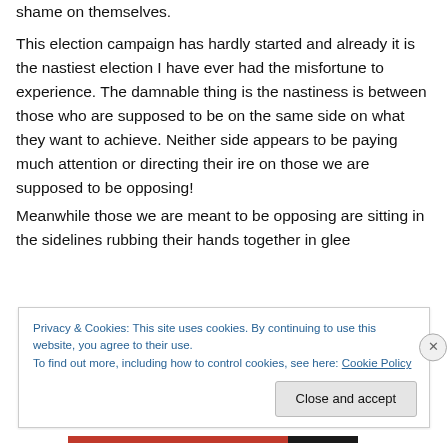shame on themselves.
This election campaign has hardly started and already it is the nastiest election I have ever had the misfortune to experience. The damnable thing is the nastiness is between those who are supposed to be on the same side on what they want to achieve. Neither side appears to be paying much attention or directing their ire on those we are supposed to be opposing!
Meanwhile those we are meant to be opposing are sitting in the sidelines rubbing their hands together in glee
Privacy & Cookies: This site uses cookies. By continuing to use this website, you agree to their use.
To find out more, including how to control cookies, see here: Cookie Policy
Close and accept